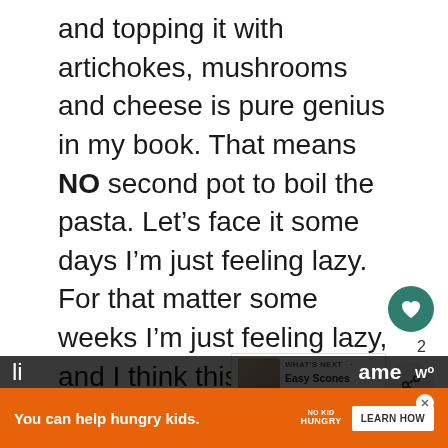and topping it with artichokes, mushrooms and cheese is pure genius in my book. That means NO second pot to boil the pasta. Let's face it some days I'm just feeling lazy. For that matter some weeks I'm just feeling lazy, and I think this week was it.

Now many one pot pastas are great th... day you make them. Reheating often a different story. The pasta tastes li...
[Figure (screenshot): Heart/like button (teal circle with heart icon) showing count of 2, and a share button below it]
[Figure (screenshot): What's Next promo box showing 'Easy Scones with...' with a food thumbnail image]
[Figure (screenshot): Orange advertisement banner: 'You can help hungry kids.' with NO KID HUNGRY logo and LEARN HOW button]